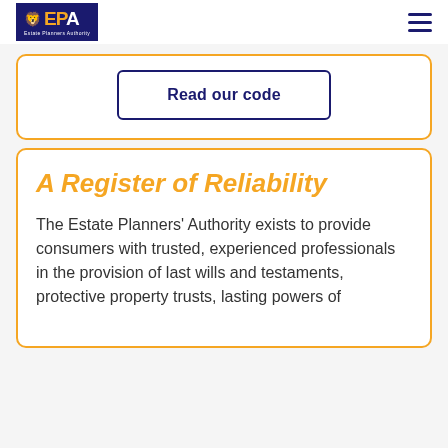EPA Estate Planners Authority
Read our code
A Register of Reliability
The Estate Planners' Authority exists to provide consumers with trusted, experienced professionals in the provision of last wills and testaments, protective property trusts, lasting powers of